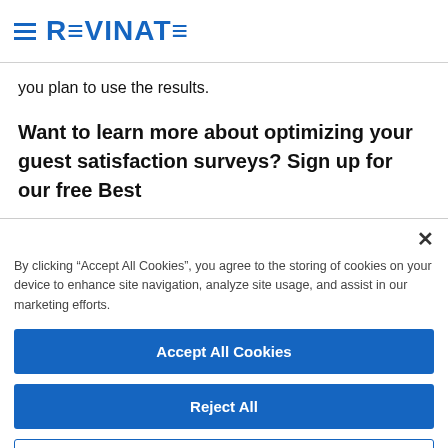REVINATE
you plan to use the results.
Want to learn more about optimizing your guest satisfaction surveys? Sign up for our free Best
By clicking “Accept All Cookies”, you agree to the storing of cookies on your device to enhance site navigation, analyze site usage, and assist in our marketing efforts.
Accept All Cookies
Reject All
Cookies Settings